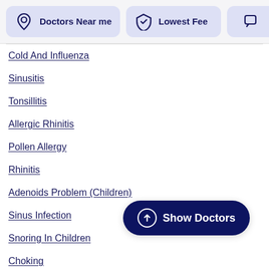[Figure (screenshot): Top filter bar with 'Doctors Near me' (location icon), 'Lowest Fee' (shield icon), and a chat icon card, all with lavender/indigo background cards]
Cold And Influenza
Sinusitis
Tonsillitis
Allergic Rhinitis
Pollen Allergy
Rhinitis
Adenoids Problem (Children)
Sinus Infection
Snoring In Children
Choking
[Figure (other): Show Doctors button with upward arrow icon, dark navy rounded pill button]